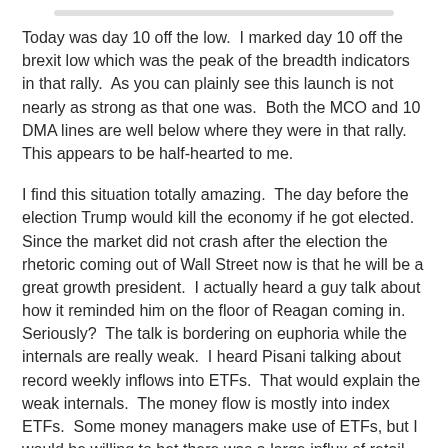Today was day 10 off the low.  I marked day 10 off the brexit low which was the peak of the breadth indicators in that rally.  As you can plainly see this launch is not nearly as strong as that one was.  Both the MCO and 10 DMA lines are well below where they were in that rally.  This appears to be half-hearted to me.
I find this situation totally amazing.  The day before the election Trump would kill the economy if he got elected.  Since the market did not crash after the election the rhetoric coming out of Wall Street now is that he will be a great growth president.  I actually heard a guy talk about how it reminded him on the floor of Reagan coming in.  Seriously?  The talk is bordering on euphoria while the internals are really weak.  I heard Pisani talking about record weekly inflows into ETFs.  That would explain the weak internals.  The money flow is mostly into index ETFs.  Some money managers make use of ETFs, but I would be willing to bet there was a large influx of retail investor money on this rally.  This seems like the perfect environment for this to be a final blowoff to...